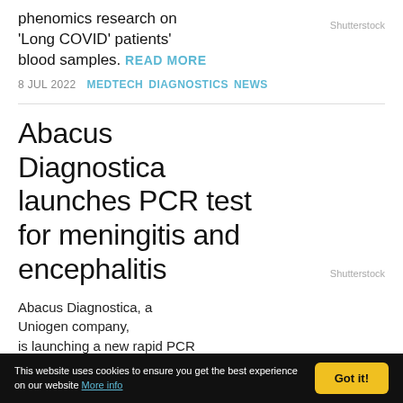NMR test for molecular phenomics research on ‘Long COVID’ patients’ blood samples. READ MORE
Shutterstock
8 JUL 2022  MEDTECH  DIAGNOSTICS  NEWS
Abacus Diagnostica launches PCR test for meningitis and encephalitis
Abacus Diagnostica, a Uniogen company, is launching a new rapid PCR test in the European markets for the fast identification of
Shutterstock
This website uses cookies to ensure you get the best experience on our website More info
Got it!